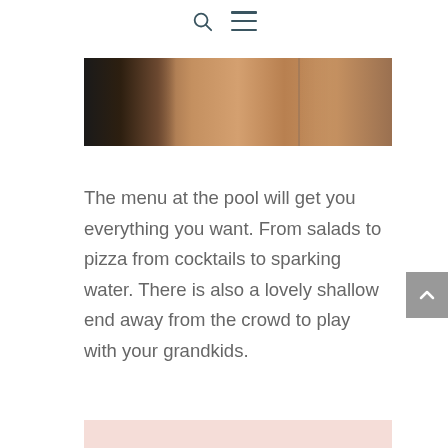Search and menu icons
[Figure (photo): Partial view of a pool area with terracotta/brick tiles and what appears to be a dark metal railing or furniture on the left side. Warm earth tones dominate.]
The menu at the pool will get you everything you want. From salads to pizza from cocktails to sparking water. There is also a lovely shallow end away from the crowd to play with your grandkids.